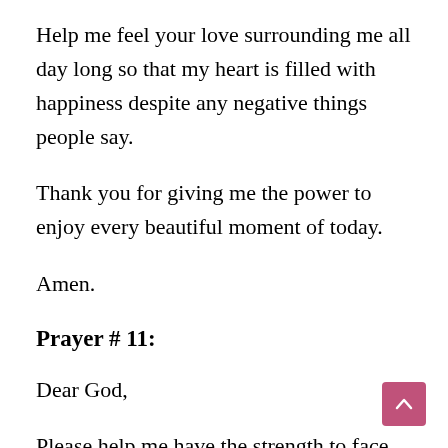Help me feel your love surrounding me all day long so that my heart is filled with happiness despite any negative things people say.
Thank you for giving me the power to enjoy every beautiful moment of today.
Amen.
Prayer # 11:
Dear God,
Please help me have the strength to face the